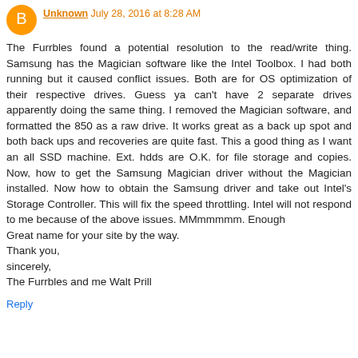Unknown July 28, 2016 at 8:28 AM
The Furrbles found a potential resolution to the read/write thing. Samsung has the Magician software like the Intel Toolbox. I had both running but it caused conflict issues. Both are for OS optimization of their respective drives. Guess ya can't have 2 separate drives apparently doing the same thing. I removed the Magician software, and formatted the 850 as a raw drive. It works great as a back up spot and both back ups and recoveries are quite fast. This a good thing as I want an all SSD machine. Ext. hdds are O.K. for file storage and copies. Now, how to get the Samsung Magician driver without the Magician installed. Now how to obtain the Samsung driver and take out Intel's Storage Controller. This will fix the speed throttling. Intel will not respond to me because of the above issues. MMmmmmm. Enough
Great name for your site by the way.
Thank you,
sincerely,
The Furrbles and me Walt Prill
Reply